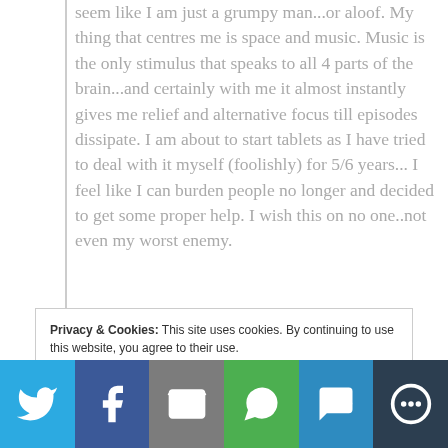seem like I am just a grumpy man...or aloof. My thing that centres me is space and music. Music is the only stimulus that speaks to all 4 parts of the brain...and certainly with me it almost instantly gives me relief and alternative focus till episodes dissipate. I am about to start tablets as I have tried to deal with it myself (foolishly) for 5/6 years... I feel like I can burden people no longer and decided to get some proper help. I wish this on no one..not even my worst enemy.
Privacy & Cookies: This site uses cookies. By continuing to use this website, you agree to their use. To find out more, including how to control cookies, see here: Our Privacy Policy
[Figure (other): Social sharing bar with Twitter, Facebook, Email, WhatsApp, SMS, and More buttons]